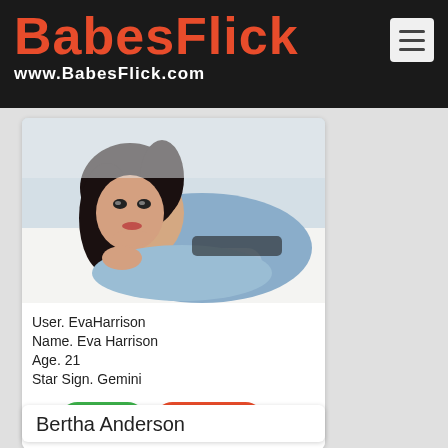BABESFLICK www.BabesFlick.com
[Figure (photo): Profile photo of Eva Harrison, a dark-haired woman lying on a white surface wearing a denim shirt]
User. EvaHarrison
Name. Eva Harrison
Age. 21
Star Sign. Gemini
CHAT »   PROFILE »
Bertha Anderson